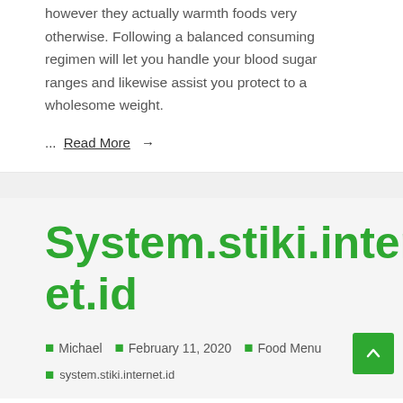however they actually warmth foods very otherwise. Following a balanced consuming regimen will let you handle your blood sugar ranges and likewise assist you protect to a wholesome weight.
...Read More →
System.stiki.internet.id
Michael   February 11, 2020   Food Menu
system.stiki.internet.id